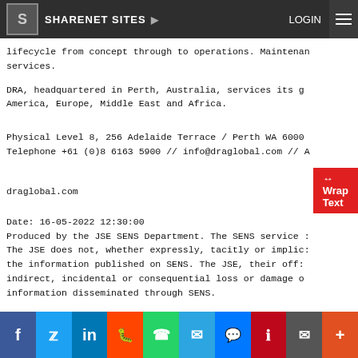SHARENET SITES ▶   LOGIN ≡
lifecycle from concept through to operations. Maintenan services.
DRA, headquartered in Perth, Australia, services its g America, Europe, Middle East and Africa.

Physical Level 8, 256 Adelaide Terrace / Perth WA 6000
Telephone +61 (0)8 6163 5900 // info@draglobal.com // A

draglobal.com

Date: 16-05-2022 12:30:00
Produced by the JSE SENS Department. The SENS service :
The JSE does not, whether expressly, tacitly or implic: the information published on SENS. The JSE, their off: indirect, incidental or consequential loss or damage o information disseminated through SENS.
f  t  in  reddit  whatsapp  telegram  messenger  pinterest  email  +